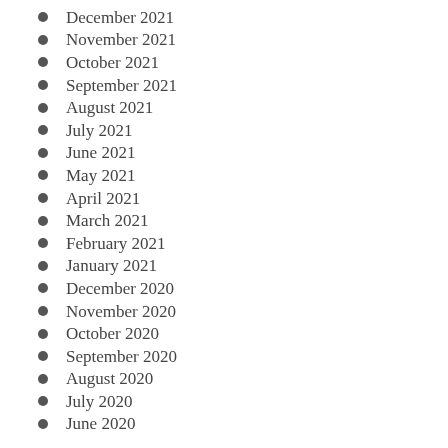December 2021
November 2021
October 2021
September 2021
August 2021
July 2021
June 2021
May 2021
April 2021
March 2021
February 2021
January 2021
December 2020
November 2020
October 2020
September 2020
August 2020
July 2020
June 2020